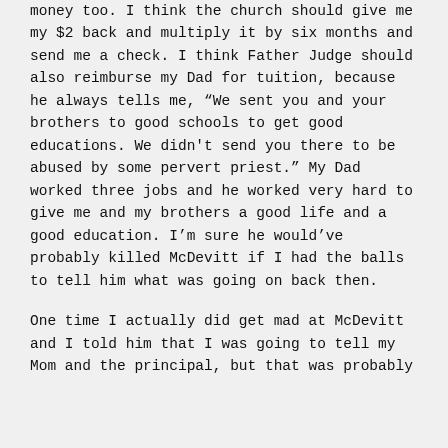money too. I think the church should give me my $2 back and multiply it by six months and send me a check. I think Father Judge should also reimburse my Dad for tuition, because he always tells me, “We sent you and your brothers to good schools to get good educations. We didn't send you there to be abused by some pervert priest.” My Dad worked three jobs and he worked very hard to give me and my brothers a good life and a good education. I’m sure he would’ve probably killed McDevitt if I had the balls to tell him what was going on back then.
One time I actually did get mad at McDevitt and I told him that I was going to tell my Mom and the principal, but that was probably